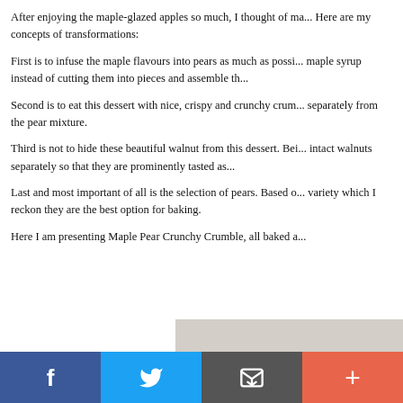After enjoying the maple-glazed apples so much, I thought of ma... Here are my concepts of transformations:
First is to infuse the maple flavours into pears as much as possi... maple syrup instead of cutting them into pieces and assemble th...
Second is to eat this dessert with nice, crispy and crunchy crum... separately from the pear mixture.
Third is not to hide these beautiful walnut from this dessert. Bei... intact walnuts separately so that they are prominently tasted as...
Last and most important of all is the selection of pears. Based o... variety which I reckon they are the best option for baking.
Here I am presenting Maple Pear Crunchy Crumble, all baked a...
[Figure (photo): A partial photo visible on the right side of the page showing a light beige/grey background, likely a food photograph.]